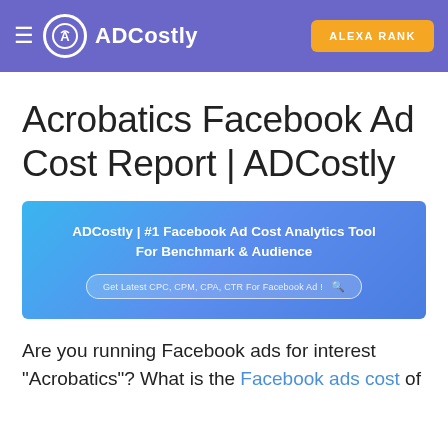≡ ADCostly | ALEXA RANK
Acrobatics Facebook Ad Cost Report | ADCostly
[Figure (screenshot): ADCostly banner with text: ADCostly | #1 Facebook Ad Cost Analytics Tool For Benchmark & Audience, and a search bar reading: Get Latest CPC, CPM, CPA, CTR For Facebook Ad!]
Are you running Facebook ads for interest "Acrobatics"? What is the Facebook ads cost of